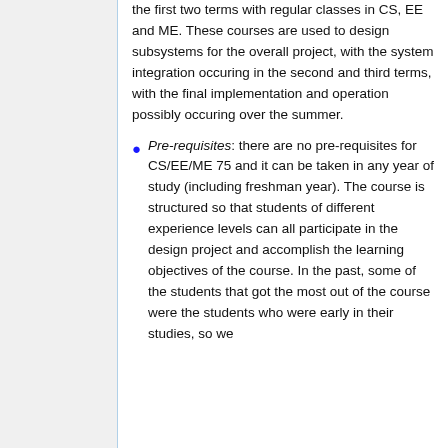the first two terms with regular classes in CS, EE and ME. These courses are used to design subsystems for the overall project, with the system integration occuring in the second and third terms, with the final implementation and operation possibly occuring over the summer.
Pre-requisites: there are no pre-requisites for CS/EE/ME 75 and it can be taken in any year of study (including freshman year). The course is structured so that students of different experience levels can all participate in the design project and accomplish the learning objectives of the course. In the past, some of the students that got the most out of the course were the students who were early in their studies, so we...